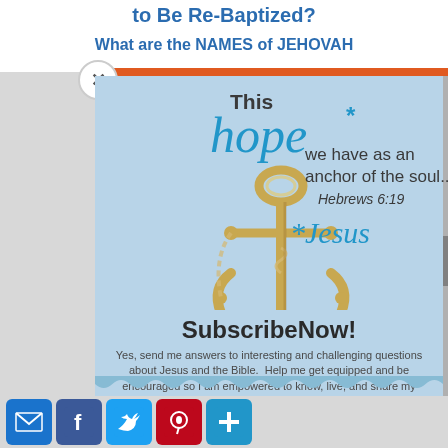to Be Re-Baptized?
What are the NAMES of JEHOVAH
[Figure (illustration): Golden anchor illustration with inspirational text overlay: 'This hope* we have as an anchor of the soul... Hebrews 6:19 *Jesus' on light blue background]
SubscribeNow!
Yes, send me answers to interesting and challenging questions about Jesus and the Bible.  Help me get equipped and be encouraged so I am empowered to know, live, and share my faith.  <*}}}><
Get equipped with knowledge!
Be encouraged in hope!
Live empowered with love!
[Figure (infographic): Social media sharing icons row: email (blue), Facebook (dark blue), Twitter (light blue), Pinterest (red), plus button (blue)]